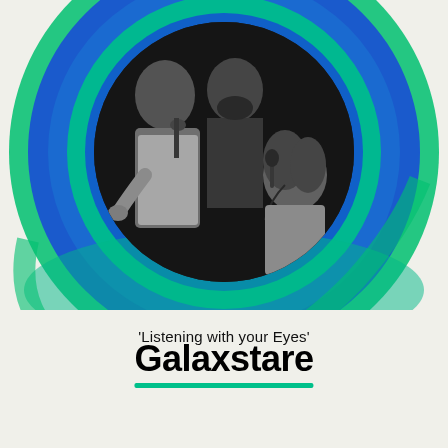[Figure (illustration): Circular album art design with concentric rings in blue and teal/green gradient. Center circle contains a black and white photo of three musicians performing — a bald man playing saxophone on the left, a bearded man in the middle, and a woman with curly hair singing into a microphone on the right.]
'Listening with your Eyes'
Galaxstare